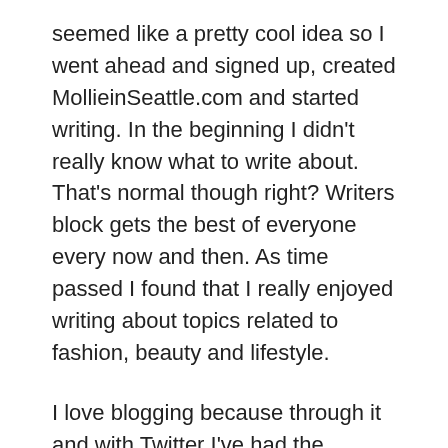seemed like a pretty cool idea so I went ahead and signed up, created MollieinSeattle.com and started writing. In the beginning I didn't really know what to write about. That's normal though right? Writers block gets the best of everyone every now and then. As time passed I found that I really enjoyed writing about topics related to fashion, beauty and lifestyle.
I love blogging because through it and with Twitter I've had the opportunity to connect with some really amazing people, businesses and organizations. It's how I've formed some of my closest relationships now. I'm thankful to Twitter, I know that may sound odd but I really am because the people I know now I don't think I would have met them organically or in another other way. I enjoy getting emails from my friends or people who read my blog, I thoroughly get giddy and excited